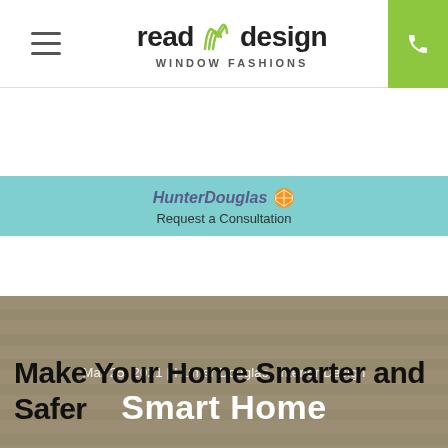[Figure (logo): Read Design Window Fashions logo with hamburger menu on left and phone button on right]
[Figure (logo): HunterDouglas logo with Request a Consultation text on teal banner]
[Figure (photo): Hero image of window blinds/shades with overlay text: Mar 25, 2021 | Hunter Douglas, Interior Design and Smart Home]
Make Your Home Smarter and Safer
[Figure (photo): Bottom strip showing partial image of interior with blinds]